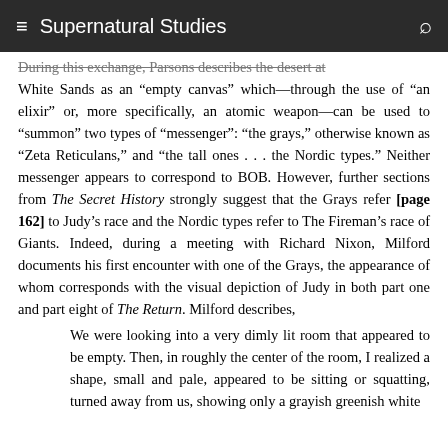Supernatural Studies
During this exchange, Parsons describes the desert at White Sands as an “empty canvas” which—through the use of “an elixir” or, more specifically, an atomic weapon—can be used to “summon” two types of “messenger”: “the grays,” otherwise known as “Zeta Reticulans,” and “the tall ones . . . the Nordic types.” Neither messenger appears to correspond to BOB. However, further sections from The Secret History strongly suggest that the Grays refer [page 162] to Judy’s race and the Nordic types refer to The Fireman’s race of Giants. Indeed, during a meeting with Richard Nixon, Milford documents his first encounter with one of the Grays, the appearance of whom corresponds with the visual depiction of Judy in both part one and part eight of The Return. Milford describes,
We were looking into a very dimly lit room that appeared to be empty. Then, in roughly the center of the room, I realized a shape, small and pale, appeared to be sitting or squatting, turned away from us, showing only a grayish greenish white